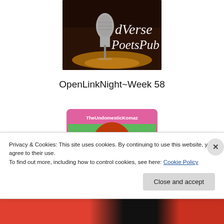[Figure (logo): dVerse PoetsPub logo with microphone on dark background]
OpenLinkNight~Week 58
[Figure (illustration): TheUndomesticKomaz avatar: cartoon red-haired woman on green background with pink border]
Privacy & Cookies: This site uses cookies. By continuing to use this website, you agree to their use.
To find out more, including how to control cookies, see here: Cookie Policy
Close and accept